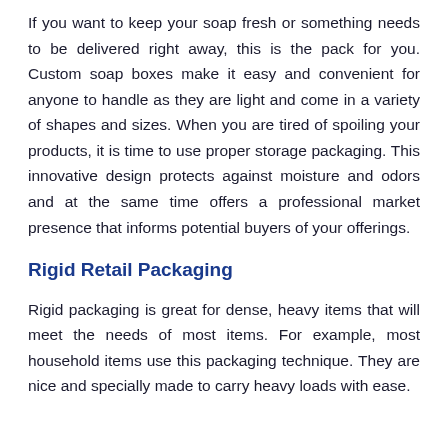If you want to keep your soap fresh or something needs to be delivered right away, this is the pack for you. Custom soap boxes make it easy and convenient for anyone to handle as they are light and come in a variety of shapes and sizes. When you are tired of spoiling your products, it is time to use proper storage packaging. This innovative design protects against moisture and odors and at the same time offers a professional market presence that informs potential buyers of your offerings.
Rigid Retail Packaging
Rigid packaging is great for dense, heavy items that will meet the needs of most items. For example, most household items use this packaging technique. They are nice and specially made to carry heavy loads with ease.